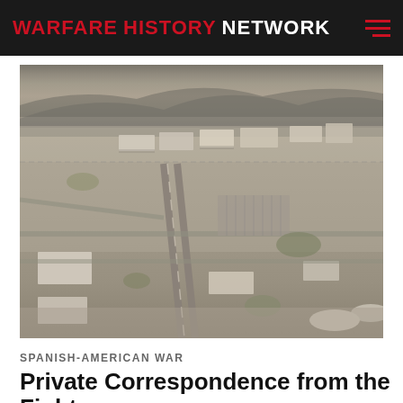WARFARE HISTORY NETWORK
[Figure (photo): Aerial black-and-white photograph of a military base or installation showing roads, buildings, parking areas, and surrounding terrain with hills in the background.]
SPANISH-AMERICAN WAR
Private Correspondence from the Fight